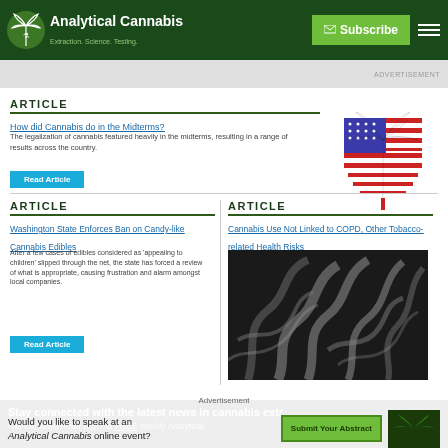Analytical Cannabis — Extraction. Science. Testing.
ARTICLE
How did Cannabis do in the Midterms?
The legalization of cannabis featured heavily in the midterms, resulting in a range of results across the country.
Read Article
[Figure (illustration): Cannabis leaf styled with American flag stars and stripes pattern in red, white, and blue]
ARTICLE
Washington State Enforces Ban on Candy-like Cannabis Edibles
After a few cases of edibles considered as 'appealing to children' slipped through the net, the state has forced a review of what is appropriate, causing frustration and alarm amongst local companies.
Read Article
ARTICLE
Cannabis Use Not Linked to COPD, Other Tobacco-related Health Risks
[Figure (photo): Black and white close-up photo of smoke or vapor swirling]
Stay connected with the latest news in cannabis extraction, science, and testing.
Get the latest news with the FREE weekly Analytical
Advertisement — Would you like to speak at an Analytical Cannabis online event? Submit Your Abstract